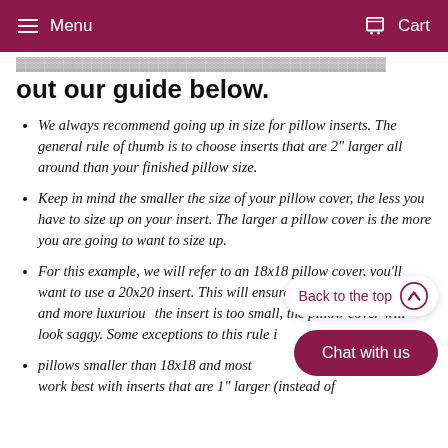Menu   Cart
out our guide below.
We always recommend going up in size for pillow inserts. The general rule of thumb is to choose inserts that are 2" larger all around than your finished pillow size.
Keep in mind the smaller the size of your pillow cover, the less you have to size up on your insert. The larger a pillow cover is the more you are going to want to size up.
For this example, we will refer to an 18x18 pillow cover, you'll want to use a 20x20 insert. This will ensure your pillow looks fuller and more luxurious. If the insert is too small, the pillow cover will look saggy. Some exceptions to this rule i
pillows smaller than 18x18 and most [obscured]-these work best with inserts that are 1" larger (instead of